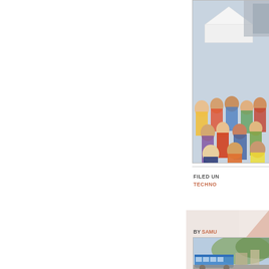[Figure (photo): Crowd of people seated outdoors at an event, with a white tent in the background. People wearing colorful clothing.]
FILED UNDER
TECHNOLOGY
[Figure (other): Banner or advertisement graphic with a salmon/pink background and a dark arrow shape on the right side.]
BY SAMU...
[Figure (photo): Outdoor scene showing what appears to be a bus or vehicle in an urban/hillside setting.]